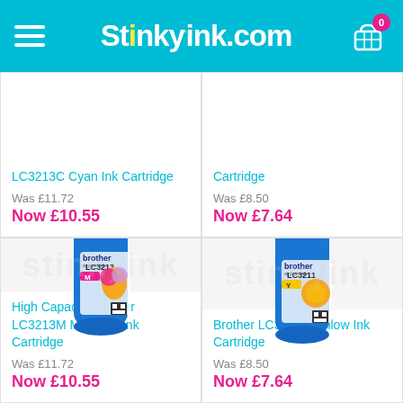Stinkyink.com
LC3213C Cyan Ink Cartridge
Was £11.72
Now £10.55
Cartridge
Was £8.50
Now £7.64
[Figure (photo): Brother LC3213 Magenta ink cartridge in blue packaging with ice cream cone image]
High Capacity Brother LC3213M Magenta Ink Cartridge
Was £11.72
Now £10.55
[Figure (photo): Brother LC3211 Yellow ink cartridge in blue packaging with orange image]
Brother LC3211Y Yellow Ink Cartridge
Was £8.50
Now £7.64